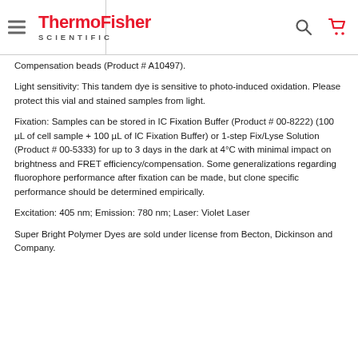ThermoFisher SCIENTIFIC
Compensation beads (Product # A10497).
Light sensitivity: This tandem dye is sensitive to photo-induced oxidation. Please protect this vial and stained samples from light.
Fixation: Samples can be stored in IC Fixation Buffer (Product # 00-8222) (100 µL of cell sample + 100 µL of IC Fixation Buffer) or 1-step Fix/Lyse Solution (Product # 00-5333) for up to 3 days in the dark at 4°C with minimal impact on brightness and FRET efficiency/compensation. Some generalizations regarding fluorophore performance after fixation can be made, but clone specific performance should be determined empirically.
Excitation: 405 nm; Emission: 780 nm; Laser: Violet Laser
Super Bright Polymer Dyes are sold under license from Becton, Dickinson and Company.